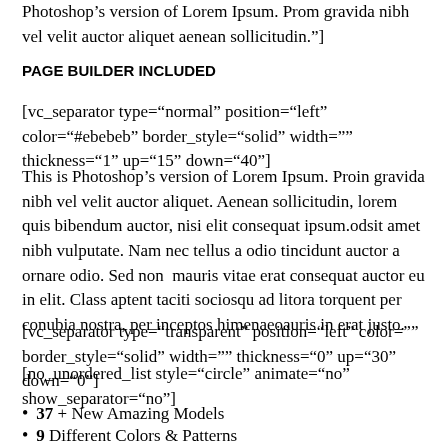Photoshop’s version of Lorem Ipsum. Prom gravida nibh vel velit auctor aliquet aenean sollicitudin."]
PAGE BUILDER INCLUDED
[vc_separator type="normal" position="left" color="#ebebeb" border_style="solid" width="" thickness="1" up="15" down="40"]
This is Photoshop’s version of Lorem Ipsum. Proin gravida nibh vel velit auctor aliquet. Aenean sollicitudin, lorem quis bibendum auctor, nisi elit consequat ipsum.odsit amet nibh vulputate. Nam nec tellus a odio tincidunt auctor a ornare odio. Sed non  mauris vitae erat consequat auctor eu in elit. Class aptent taciti sociosqu ad litora torquent per conubia nostra, per inceptos himenaeoauris in erat justo.
[vc_separator type="transparent" position="left" color="" border_style="solid" width="" thickness="0" up="30" down="0"]
[no_unordered_list style="circle" animate="no" show_separator="no"]
37 + New Amazing Models
9 Different Colors & Patterns
99 Reasons to buy them